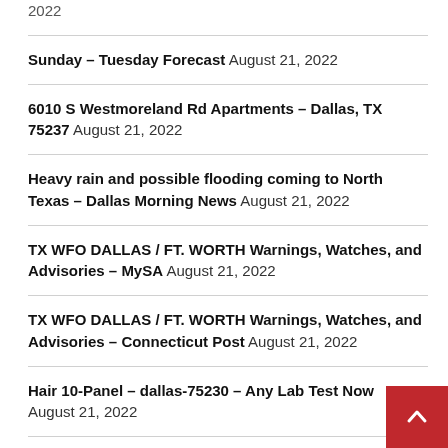2022
Sunday – Tuesday Forecast August 21, 2022
6010 S Westmoreland Rd Apartments – Dallas, TX 75237 August 21, 2022
Heavy rain and possible flooding coming to North Texas – Dallas Morning News August 21, 2022
TX WFO DALLAS / FT. WORTH Warnings, Watches, and Advisories – MySA August 21, 2022
TX WFO DALLAS / FT. WORTH Warnings, Watches, and Advisories – Connecticut Post August 21, 2022
Hair 10-Panel – dallas-75230 – Any Lab Test Now August 21, 2022
TX WFO DALLAS / FT. WORTH Warnings, Watches, and Advisories – Seattle PI August 21, 2022